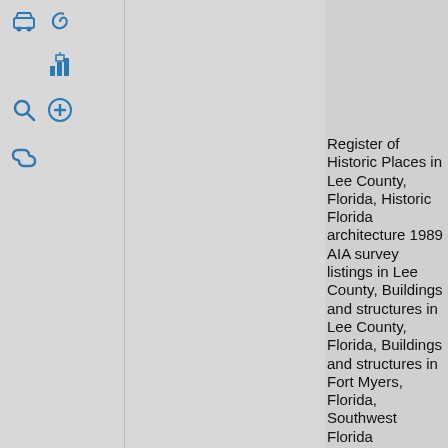[Figure (other): Wikipedia-style page with toolbar icons on left (car, spiral, bar chart with building, magnifier, plus, chain link) and category text list in center column]
Register of Historic Places in Lee County, Florida, Historic Florida architecture 1989 AIA survey listings in Lee County, Buildings and structures in Lee County, Florida, Buildings and structures in Fort Myers, Florida, Southwest Florida Registered Historic Place stubs, Hidden categories:, Articles
[Figure (photo): Photograph of a historic government or civic building with large columns, beige/tan stone exterior, trees and sidewalk visible]